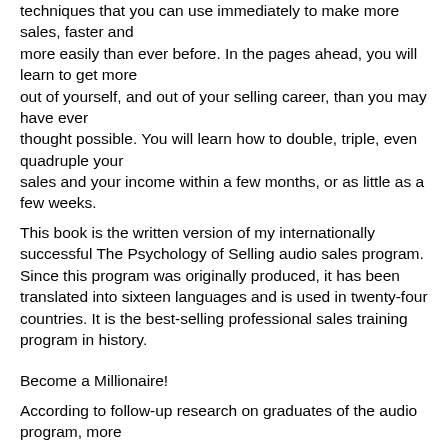techniques that you can use immediately to make more sales, faster and more easily than ever before. In the pages ahead, you will learn to get more out of yourself, and out of your selling career, than you may have ever thought possible. You will learn how to double, triple, even quadruple your sales and your income within a few months, or as little as a few weeks.
This book is the written version of my internationally successful The Psychology of Selling audio sales program. Since this program was originally produced, it has been translated into sixteen languages and is used in twenty-four countries. It is the best-selling professional sales training program in history.
Become a Millionaire!
According to follow-up research on graduates of the audio program, more